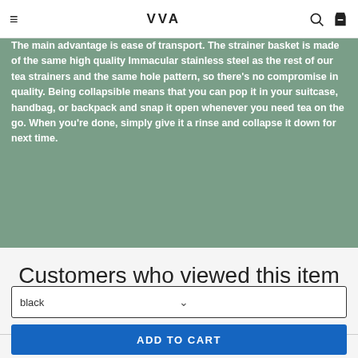VVA
The main advantage is ease of transport. The strainer basket is made of the same high quality Immacular stainless steel as the rest of our tea strainers and the same hole pattern, so there's no compromise in quality. Being collapsible means that you can pop it in your suitcase, handbag, or backpack and snap it open whenever you need tea on the go. When you're done, simply give it a rinse and collapse it down for next time.
Customers who viewed this item also viewed